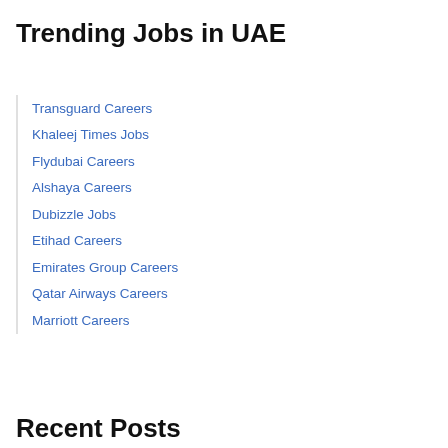Trending Jobs in UAE
Transguard Careers
Khaleej Times Jobs
Flydubai Careers
Alshaya Careers
Dubizzle Jobs
Etihad Careers
Emirates Group Careers
Qatar Airways Careers
Marriott Careers
Recent Posts